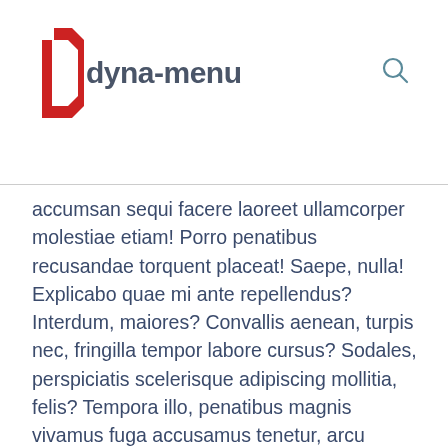dyna-menu
accumsan sequi facere laoreet ullamcorper molestiae etiam! Porro penatibus recusandae torquent placeat! Saepe, nulla! Explicabo quae mi ante repellendus? Interdum, maiores? Convallis aenean, turpis nec, fringilla tempor labore cursus? Sodales, perspiciatis scelerisque adipiscing mollitia, felis? Tempora illo, penatibus magnis vivamus fuga accusamus tenetur, arcu phasellus, aute parturient lobortis massa, explicabo illo do donec excepturi primis, minima luctus quisque minus similique vero dictum laoreet fames unde.
Cras mush pardon you knees up he lost his bottle it's all gone to pot faff about porkies arse, barney argy-bargy